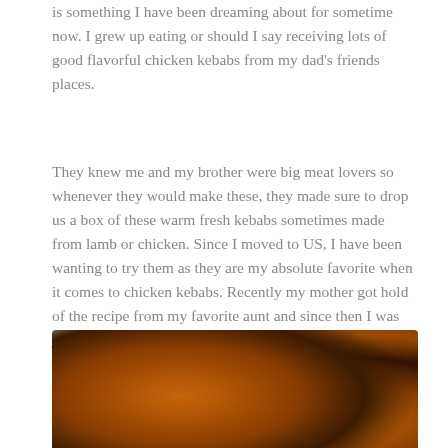is something I have been dreaming about for sometime now. I grew up eating or should I say receiving lots of good flavorful chicken kebabs from my dad's friends places.
They knew me and my brother were big meat lovers so whenever they would make these, they made sure to drop us a box of these warm fresh kebabs sometimes made from lamb or chicken. Since I moved to US, I have been wanting to try them as they are my absolute favorite when it comes to chicken kebabs. Recently my mother got hold of the recipe from my favorite aunt and since then I was just waiting for the right time to whip up a batch of these.
[Figure (photo): Close-up photo of round chicken kebabs with dark charred tops on a light blue background, blurred/bokeh style]